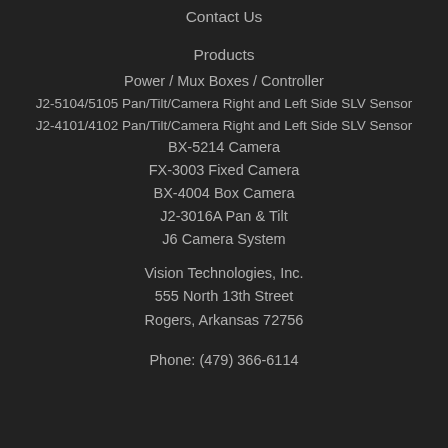Contact Us
Products
Power / Mux Boxes / Controller
J2-5104/5105 Pan/Tilt/Camera Right and Left Side SLV Sensor
J2-4101/4102 Pan/Tilt/Camera Right and Left Side SLV Sensor
BX-5214 Camera
FX-3003 Fixed Camera
BX-4004 Box Camera
J2-3016A Pan & Tilt
J6 Camera System
Vision Technologies, Inc.
555 North 13th Street
Rogers, Arkansas 72756
Phone: (479) 366-6114